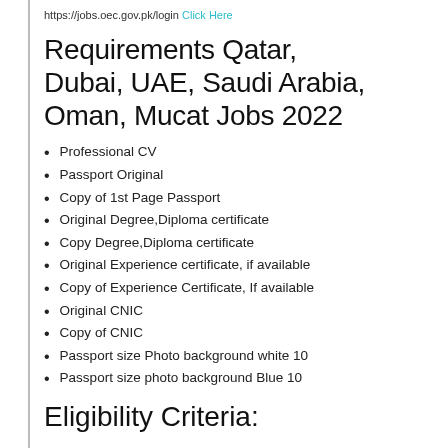https://jobs.oec.gov.pk/login Click Here
Requirements Qatar, Dubai, UAE, Saudi Arabia, Oman, Mucat Jobs 2022
Professional CV
Passport Original
Copy of 1st Page Passport
Original Degree,Diploma certificate
Copy Degree,Diploma certificate
Original Experience certificate, if available
Copy of Experience Certificate, If available
Original CNIC
Copy of CNIC
Passport size Photo background white 10
Passport size photo background Blue 10
Eligibility Criteria: